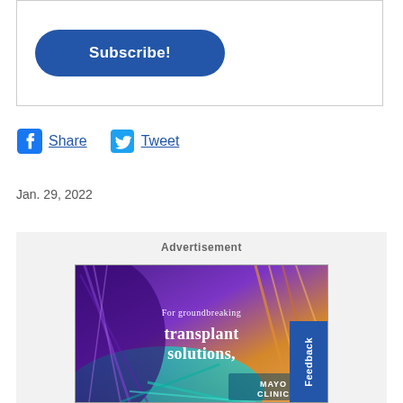[Figure (other): Subscribe button inside a bordered box]
Share   Tweet
Jan. 29, 2022
[Figure (advertisement): Advertisement section with Mayo Clinic transplant solutions ad. Text reads: For groundbreaking transplant solutions, MAYO CLINIC]